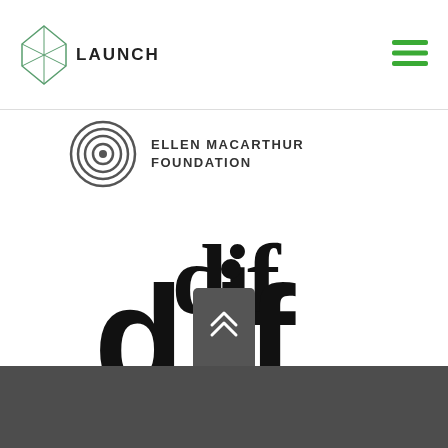[Figure (logo): Launch logo: Ethereum diamond icon in green outline with text LAUNCH beside it, top-left header]
[Figure (logo): Hamburger menu icon in green, top-right header]
[Figure (logo): Ellen MacArthur Foundation logo: circular concentric rings icon with ELLEN MACARTHUR FOUNDATION text]
[Figure (logo): DIF logo: large bold lowercase letters dif in black]
[Figure (logo): Circular Economy Club logo: circular script CE emblem in gold with CIRCULAR ECONOMY CLUB text]
[Figure (other): Dark grey scroll-to-top button with double chevron up arrows]